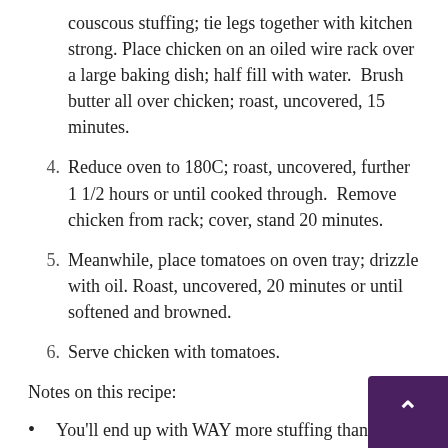couscous stuffing; tie legs together with kitchen strong. Place chicken on an oiled wire rack over a large baking dish; half fill with water.  Brush butter all over chicken; roast, uncovered, 15 minutes.
4. Reduce oven to 180C; roast, uncovered, further 1 1/2 hours or until cooked through.  Remove chicken from rack; cover, stand 20 minutes.
5. Meanwhile, place tomatoes on oven tray; drizzle with oil. Roast, uncovered, 20 minutes or until softened and browned.
6. Serve chicken with tomatoes.
Notes on this recipe:
You'll end up with WAY more stuffing than you need. You can serve the additional stuffing alongside the chi… but as it has raw egg in it, it'd be better to serve it co…